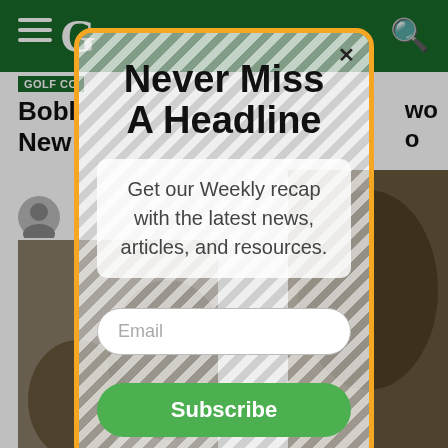[Figure (screenshot): Golf website background with dark green header bar showing hamburger menu, logo initial G, and search icon. Below header shows partial article with GOLF CO badge, bold headline starting with Bobl... and New..., user avatar, and background photos.]
Never Miss A Headline
Get our Weekly recap with the latest news, articles, and resources.
Email
Subscribe